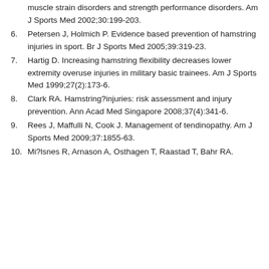5. Croisier JL, Forthomme B, Namurois MH, et al. Hamstring muscle strain disorders and strength performance disorders. Am J Sports Med 2002;30:199-203.
6. Petersen J, Holmich P. Evidence based prevention of hamstring injuries in sport. Br J Sports Med 2005;39:319-23.
7. Hartig D. Increasing hamstring flexibility decreases lower extremity overuse injuries in military basic trainees. Am J Sports Med 1999;27(2):173-6.
8. Clark RA. Hamstring?injuries: risk assessment and injury prevention. Ann Acad Med Singapore 2008;37(4):341-6.
9. Rees J, Maffulli N, Cook J. Management of tendinopathy. Am J Sports Med 2009;37:1855-63.
10. Mi?lsnes R, Arnason A, Osthagen T, Raastad T, Bahr RA.